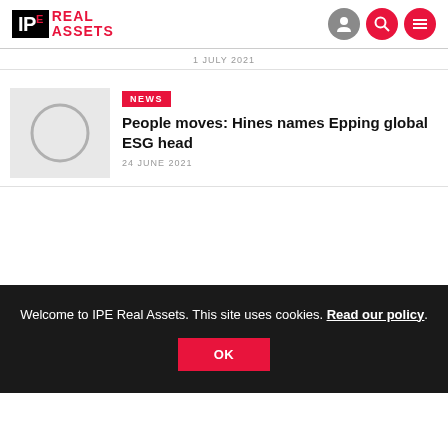IPE Real Assets
1 JULY 2021
[Figure (illustration): Placeholder thumbnail image with grey background and circle outline]
NEWS
People moves: Hines names Epping global ESG head
24 JUNE 2021
Welcome to IPE Real Assets. This site uses cookies. Read our policy.
OK